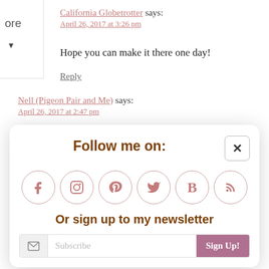California Globetrotter says:
April 26, 2017 at 3:26 pm
Hope you can make it there one day!
Reply
Nell (Pigeon Pair and Me) says:
April 26, 2017 at 2:47 pm
[Figure (infographic): A modal popup overlay with title 'Follow me on:' showing social media icon circles (Facebook, Instagram, Pinterest, Twitter, Bloglovin, RSS), text 'Or sign up to my newsletter', a Subscribe email input field with envelope icon and a 'Sign Up!' button. A close (x) button is in the top right corner.]
April 26, 2017 at 3:26 pm
We're headed back to Bosnia as part of our